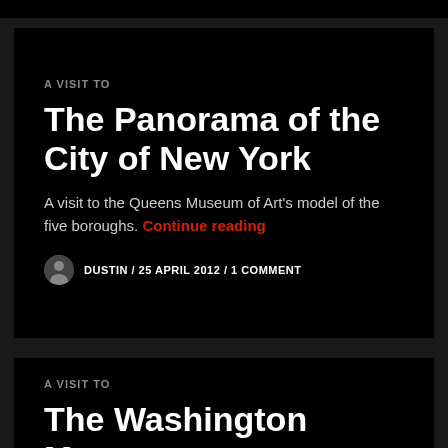A VISIT TO
The Panorama of the City of New York
A visit to the Queens Museum of Art's model of the five boroughs. Continue reading
DUSTIN / 25 APRIL 2012 / 1 COMMENT
A VISIT TO
The Washington Monument